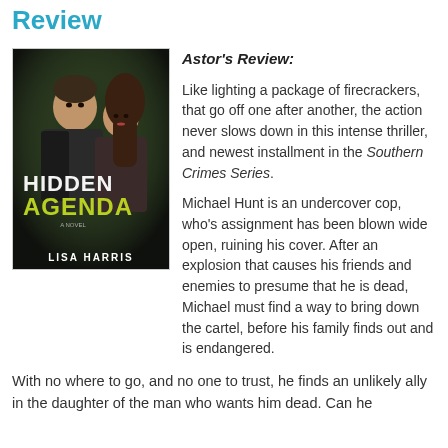Review
[Figure (photo): Book cover of 'Hidden Agenda' by Lisa Harris showing a man and woman in a dark, dramatic setting. The title 'HIDDEN AGENDA' appears in large text with 'A Novel' below it, and 'LISA HARRIS' at the bottom.]
Astor's Review:
Like lighting a package of firecrackers, that go off one after another, the action never slows down in this intense thriller, and newest installment in the Southern Crimes Series.
Michael Hunt is an undercover cop, who's assignment has been blown wide open, ruining his cover. After an explosion that causes his friends and enemies to presume that he is dead, Michael must find a way to bring down the cartel, before his family finds out and is endangered.
With no where to go, and no one to trust, he finds an unlikely ally in the daughter of the man who wants him dead. Can he